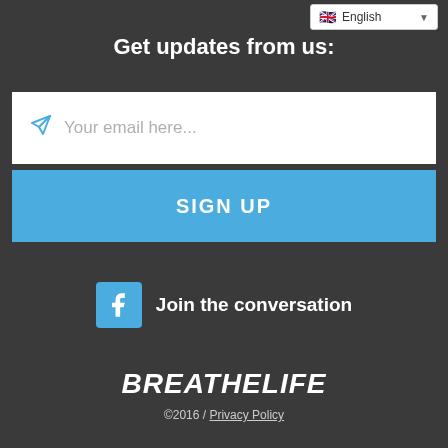[Figure (screenshot): Language selector dropdown showing English with UK flag]
Get updates from us:
[Figure (screenshot): Email input field with paper plane icon and placeholder text 'Your email here...']
[Figure (screenshot): Blue SIGN UP button]
[Figure (screenshot): Facebook icon with 'Join the conversation' text]
BREATHELIFE
©2016 / Privacy Policy